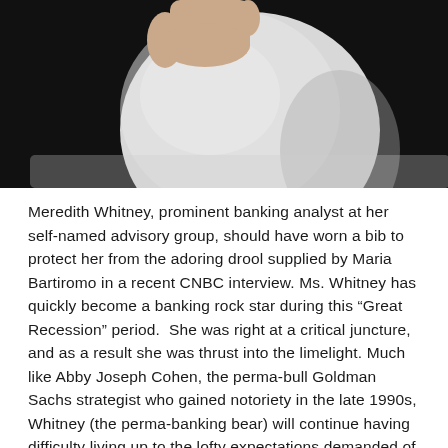[Figure (photo): A close-up photograph of a hand holding a large white round object (possibly a crystal ball or balloon) against a dark background.]
Meredith Whitney, prominent banking analyst at her self-named advisory group, should have worn a bib to protect her from the adoring drool supplied by Maria Bartiromo in a recent CNBC interview. Ms. Whitney has quickly become a banking rock star during this “Great Recession” period.  She was right at a critical juncture, and as a result she was thrust into the limelight. Much like Abby Joseph Cohen, the perma-bull Goldman Sachs strategist who gained notoriety in the late 1990s, Whitney (the perma-banking bear) will continue having difficulty living up to the lofty expectations demanded of her.